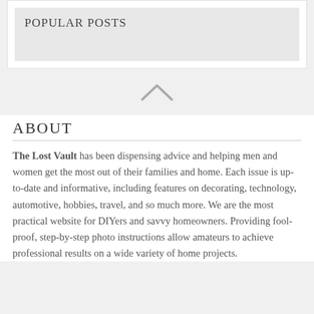POPULAR POSTS
[Figure (other): Upward chevron/caret icon used as a UI scroll-up indicator]
ABOUT
The Lost Vault has been dispensing advice and helping men and women get the most out of their families and home. Each issue is up-to-date and informative, including features on decorating, technology, automotive, hobbies, travel, and so much more. We are the most practical website for DIYers and savvy homeowners. Providing fool-proof, step-by-step photo instructions allow amateurs to achieve professional results on a wide variety of home projects.